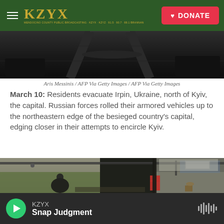KZYX — DONATE
[Figure (photo): Dark aerial or ground-level photo showing road/railway tracks]
Aris Messinis / AFP Via Getty Images / AFP Via Getty Images
March 10: Residents evacuate Irpin, Ukraine, north of Kyiv, the capital. Russian forces rolled their armored vehicles up to the northeastern edge of the besieged country's capital, edging closer in their attempts to encircle Kyiv.
[Figure (photo): Interior of a shelter/basement with people taking refuge, green-painted walls, pipes on ceiling, red chairs and belongings on floor]
KZYX — Snap Judgment